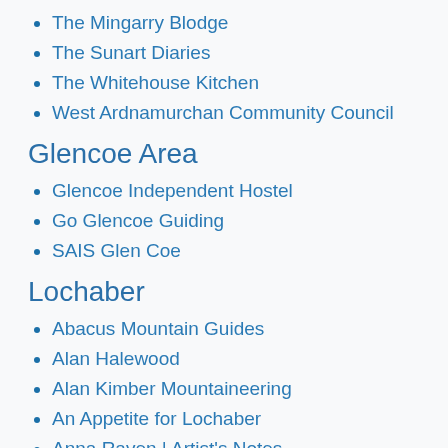The Mingarry Blodge
The Sunart Diaries
The Whitehouse Kitchen
West Ardnamurchan Community Council
Glencoe Area
Glencoe Independent Hostel
Go Glencoe Guiding
SAIS Glen Coe
Lochaber
Abacus Mountain Guides
Alan Halewood
Alan Kimber Mountaineering
An Appetite for Lochaber
Anna Raven | Artist's Notes
Dave MacLeod
fortwilliam.co.uk